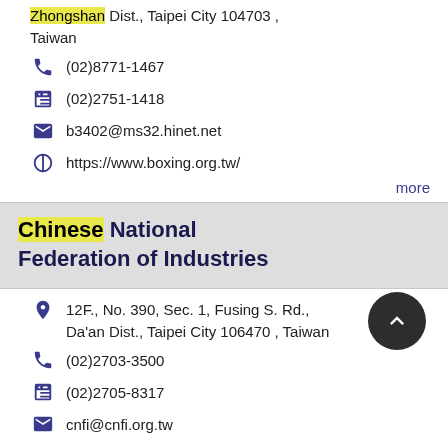Zhongshan Dist., Taipei City 104703 , Taiwan
(02)8771-1467
(02)2751-1418
b3402@ms32.hinet.net
https://www.boxing.org.tw/
more
Chinese National Federation of Industries
12F., No. 390, Sec. 1, Fusing S. Rd., Da'an Dist., Taipei City 106470 , Taiwan
(02)2703-3500
(02)2705-8317
cnfi@cnfi.org.tw
http://www.cnfi.org.tw/front/bin/home.phtml